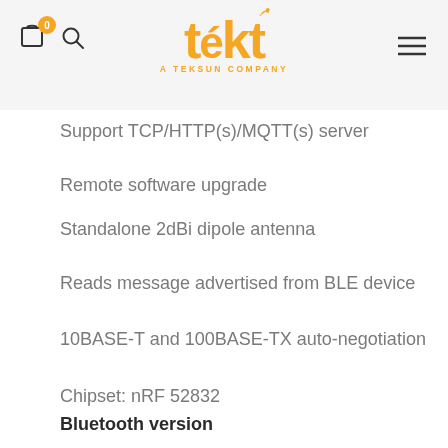tekt — A TEKSUN COMPANY
Support TCP/HTTP(s)/MQTT(s) server
Remote software upgrade
Standalone 2dBi dipole antenna
Reads message advertised from BLE device
10BASE-T and 100BASE-TX auto-negotiation
Chipset: nRF 52832
Bluetooth version